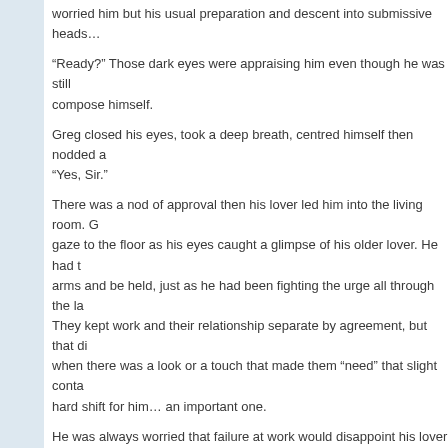worried him but his usual preparation and descent into submissive heads…
“Ready?” Those dark eyes were appraising him even though he was still… compose himself.
Greg closed his eyes, took a deep breath, centred himself then nodded a… “Yes, Sir.”
There was a nod of approval then his lover led him into the living room. G… gaze to the floor as his eyes caught a glimpse of his older lover. He had t… arms and be held, just as he had been fighting the urge all through the la… They kept work and their relationship separate by agreement, but that di… when there was a look or a touch that made them “need” that slight conta… hard shift for him… an important one.
He was always worried that failure at work would disappoint his lover at h… afraid because he was still dressed, did that mean it was being ended, th… worth him taking his clothes off only to have to put them back on again in… keep his posture in light of his defeatist thoughts but his shoulders starte… since he’d entered the room.
“Greg?” The enquiring tone of his lover asked as he spotted the trembling…